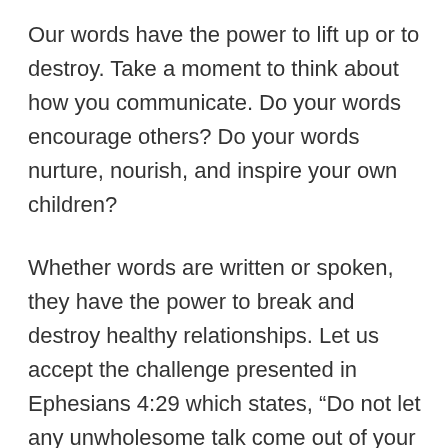Our words have the power to lift up or to destroy. Take a moment to think about how you communicate. Do your words encourage others? Do your words nurture, nourish, and inspire your own children?
Whether words are written or spoken, they have the power to break and destroy healthy relationships. Let us accept the challenge presented in Ephesians 4:29 which states, “Do not let any unwholesome talk come out of your mouths, but only what is helpful for building others up according to their needs, that it may benefit